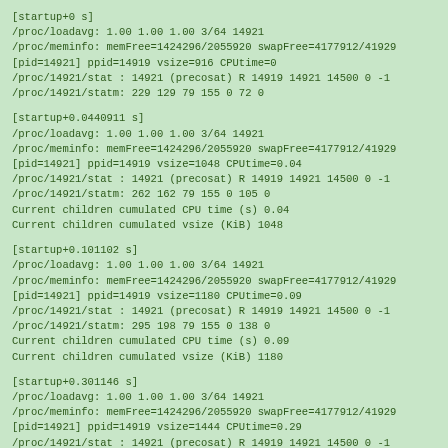[startup+0 s]
/proc/loadavg: 1.00 1.00 1.00 3/64 14921
/proc/meminfo: memFree=1424296/2055920 swapFree=4177912/41929
[pid=14921] ppid=14919 vsize=916 CPUtime=0
/proc/14921/stat : 14921 (precosat) R 14919 14921 14500 0 -1
/proc/14921/statm: 229 129 79 155 0 72 0
[startup+0.0440911 s]
/proc/loadavg: 1.00 1.00 1.00 3/64 14921
/proc/meminfo: memFree=1424296/2055920 swapFree=4177912/41929
[pid=14921] ppid=14919 vsize=1048 CPUtime=0.04
/proc/14921/stat : 14921 (precosat) R 14919 14921 14500 0 -1
/proc/14921/statm: 262 162 79 155 0 105 0
Current children cumulated CPU time (s) 0.04
Current children cumulated vsize (KiB) 1048
[startup+0.101102 s]
/proc/loadavg: 1.00 1.00 1.00 3/64 14921
/proc/meminfo: memFree=1424296/2055920 swapFree=4177912/41929
[pid=14921] ppid=14919 vsize=1180 CPUtime=0.09
/proc/14921/stat : 14921 (precosat) R 14919 14921 14500 0 -1
/proc/14921/statm: 295 198 79 155 0 138 0
Current children cumulated CPU time (s) 0.09
Current children cumulated vsize (KiB) 1180
[startup+0.301146 s]
/proc/loadavg: 1.00 1.00 1.00 3/64 14921
/proc/meminfo: memFree=1424296/2055920 swapFree=4177912/41929
[pid=14921] ppid=14919 vsize=1444 CPUtime=0.29
/proc/14921/stat : 14921 (precosat) R 14919 14921 14500 0 -1
/proc/14921/statm: 361 259 79 155 0 204 0